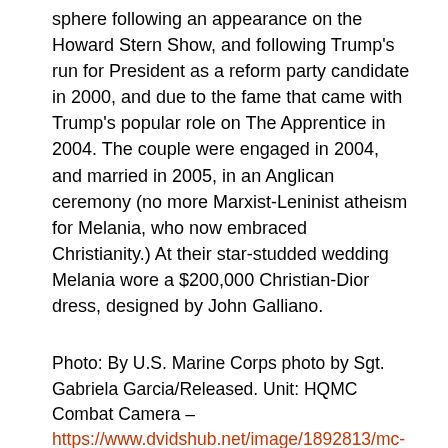sphere following an appearance on the Howard Stern Show, and following Trump's run for President as a reform party candidate in 2000, and due to the fame that came with Trump's popular role on The Apprentice in 2004. The couple were engaged in 2004, and married in 2005, in an Anglican ceremony (no more Marxist-Leninist atheism for Melania, who now embraced Christianity.) At their star-studded wedding Melania wore a $200,000 Christian-Dior dress, designed by John Galliano.
Photo: By U.S. Marine Corps photo by Sgt. Gabriela Garcia/Released. Unit: HQMC Combat Camera – https://www.dvidshub.net/image/1892813/mc-lef-20th-annual-semper-fidelis-gala, Public Domain, Link
Photo: By Seth Poppel/Yearbook Library – "Photos show